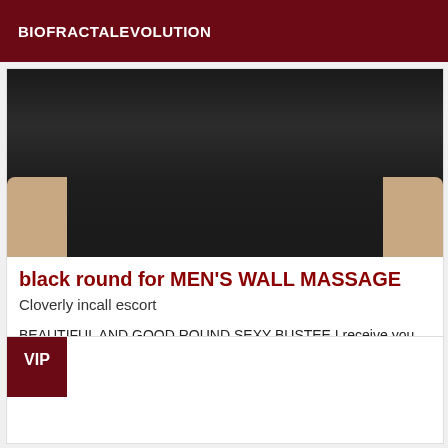BIOFRACTALEVOLUTION
[Figure (photo): Close-up photo of a person's back/torso wearing a dark navy/black top, with arms visible on either side showing skin]
black round for MEN'S WALL MASSAGE
Cloverly incall escort
BEAUTIFUL AND GOOD ROUND SEXY BUSTEE I receive you for full massage in discretion mature and respectful man
VIP